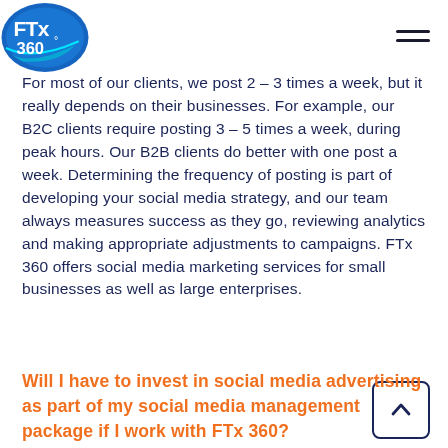FTx 360 logo and navigation menu
For most of our clients, we post 2 – 3 times a week, but it really depends on their businesses. For example, our B2C clients require posting 3 – 5 times a week, during peak hours. Our B2B clients do better with one post a week. Determining the frequency of posting is part of developing your social media strategy, and our team always measures success as they go, reviewing analytics and making appropriate adjustments to campaigns. FTx 360 offers social media marketing services for small businesses as well as large enterprises.
Will I have to invest in social media advertising as part of my social media management package if I work with FTx 360?